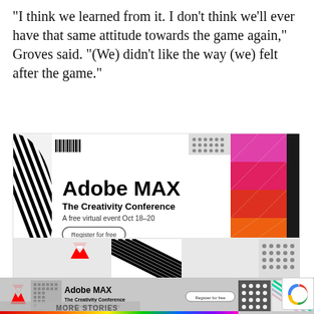“I think we learned from it. I don’t think we’ll ever have that same attitude towards the game again,” Groves said. “(We) didn’t like the way (we) felt after the game.”
[Figure (illustration): Adobe MAX - The Creativity Conference advertisement banner. White panel with Adobe MAX bold title, subtitle 'The Creativity Conference', date 'A free virtual event Oct 18-20', 'Register for free' button. Left side has black and white swirl stripe pattern. Right side has colorful triangles in pink/red/orange gradient and black diamond dot pattern. Bottom shows Adobe logo and diagonal stripe pattern. Rainbow gradient bar at bottom.]
[Figure (screenshot): Partial view of another Adobe MAX advertisement below, showing MORE STORIES text overlay, Adobe logo, partial ad content with colorful patterns and a reCAPTCHA icon in the corner.]